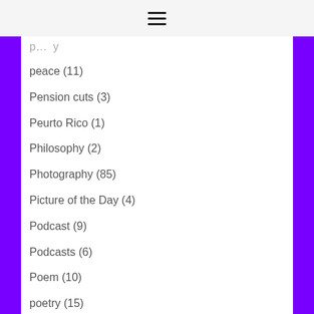☰
peace (11)
Pension cuts (3)
Peurto Rico (1)
Philosophy (2)
Photography (85)
Picture of the Day (4)
Podcast (9)
Podcasts (6)
Poem (10)
poetry (15)
Politics (6)
Portugal (9)
Private Finance Initiative (10)